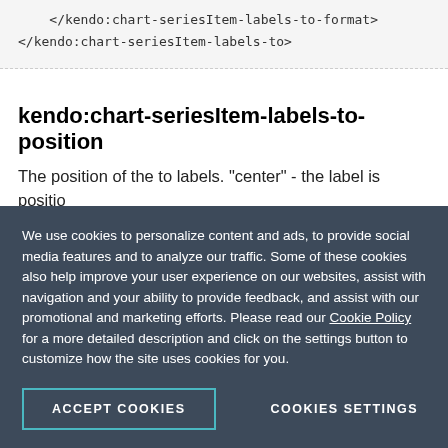</kendo:chart-seriesItem-labels-to-format>
</kendo:chart-seriesItem-labels-to>
kendo:chart-seriesItem-labels-to-position
The position of the to labels. "center" - the label is positioned at center.; "insideBase" - the label is positioned inside, near the base.; "insideEnd" - the label is positioned inside, near the end of the segment.; "outsideEnd" - the label is positioned outside, near the end of the segment.; - the label is positioned at the top of the marker.
We use cookies to personalize content and ads, to provide social media features and to analyze our traffic. Some of these cookies also help improve your user experience on our websites, assist with navigation and your ability to provide feedback, and assist with our promotional and marketing efforts. Please read our Cookie Policy for a more detailed description and click on the settings button to customize how the site uses cookies for you.
ACCEPT COOKIES
COOKIES SETTINGS